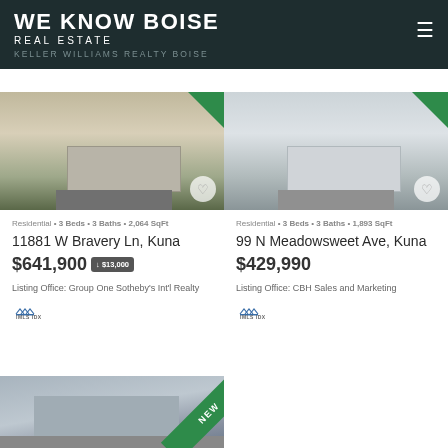WE KNOW BOISE REAL ESTATE
KELLER WILLIAMS REALTY BOISE
Residential • 3 Beds • 3 Baths • 2,064 SqFt
11881 W Bravery Ln, Kuna
$641,900 ↓ $13,000
Listing Office: Group One Sotheby's Int'l Realty
Residential • 3 Beds • 3 Baths • 1,893 SqFt
99 N Meadowsweet Ave, Kuna
$429,990
Listing Office: CBH Sales and Marketing